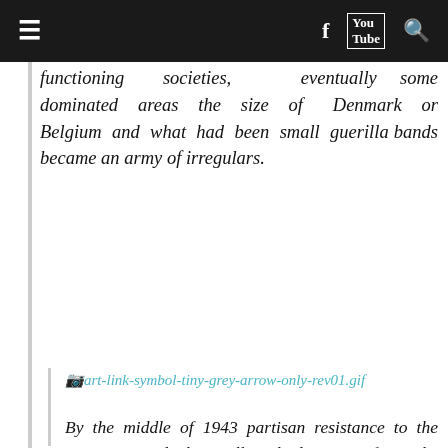≡  f  YouTube  🔍
functioning societies, eventually some dominated areas the size of Denmark or Belgium and what had been small guerilla bands became an army of irregulars.
[Figure (other): Broken image placeholder link: art-link-symbol-tiny-grey-arrow-only-rev01.gif]
By the middle of 1943 partisan resistance to the Germans and their allies had grown from the dimensions of a mere nuisance to those of a major factor in the general situation. In many parts of occupied Europe the enemy was suffering losses at the hands of partisans that he